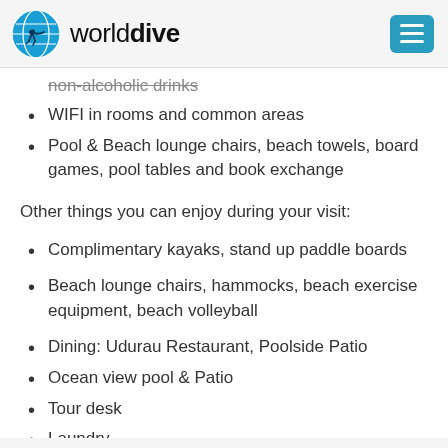worlddive
non-alcoholic drinks (struck through)
WIFI in rooms and common areas
Pool & Beach lounge chairs, beach towels, board games, pool tables and book exchange
Other things you can enjoy during your visit:
Complimentary kayaks, stand up paddle boards
Beach lounge chairs, hammocks, beach exercise equipment, beach volleyball
Dining: Udurau Restaurant, Poolside Patio
Ocean view pool & Patio
Tour desk
Laundry